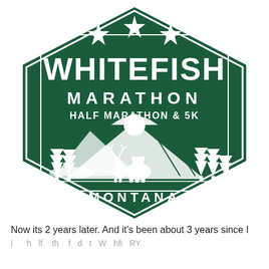[Figure (logo): Whitefish Marathon, Half Marathon & 5K Montana event logo. Dark green hexagonal badge with white text and illustrations showing mountains, trees, a lake, a bear, and a moose. Three stars at the top.]
Now its 2 years later. And it's been about 3 years since I
l h lf th f d t W hfi RY